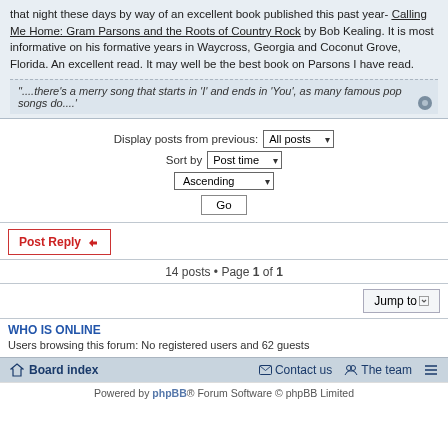that night these days by way of an excellent book published this past year- Calling Me Home: Gram Parsons and the Roots of Country Rock by Bob Kealing. It is most informative on his formative years in Waycross, Georgia and Coconut Grove, Florida. An excellent read. It may well be the best book on Parsons I have read.
"....there's a merry song that starts in 'I' and ends in 'You', as many famous pop songs do....'
Display posts from previous: All posts   Sort by Post time   Ascending   Go
Post Reply
14 posts • Page 1 of 1
Jump to
WHO IS ONLINE
Users browsing this forum: No registered users and 62 guests
Board index   Contact us   The team
Powered by phpBB® Forum Software © phpBB Limited